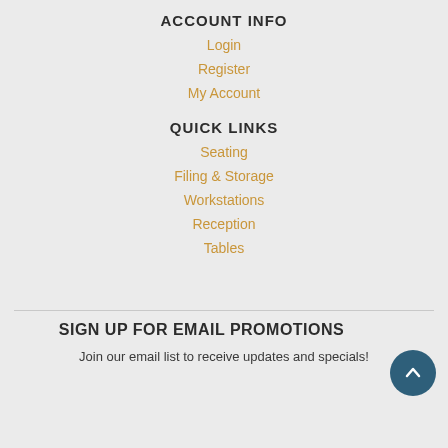ACCOUNT INFO
Login
Register
My Account
QUICK LINKS
Seating
Filing & Storage
Workstations
Reception
Tables
SIGN UP FOR EMAIL PROMOTIONS
Join our email list to receive updates and specials!